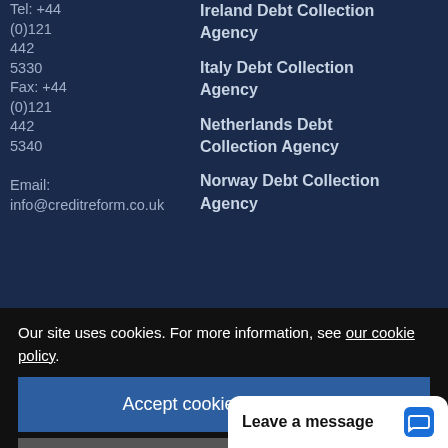Tel: +44 (0)121 442 5330
Fax: +44 (0)121 442 5340
Email: info@creditreform.co.uk
Ireland Debt Collection Agency
Italy Debt Collection Agency
Netherlands Debt Collection Agency
Norway Debt Collection Agency
Romania Debt Collection
Russia D...
Our site uses cookies. For more information, see our cookie policy.
Accept cookies and close
Reject cooki...
Leave a message